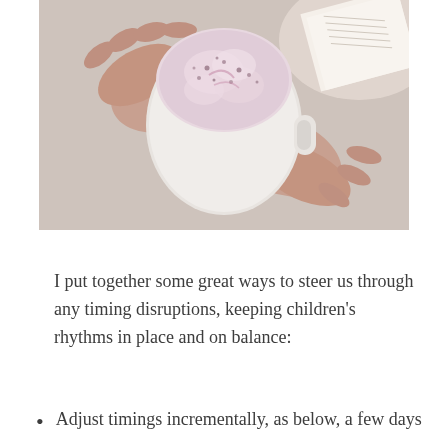[Figure (photo): Overhead view of two hands holding a white mug filled with a frothy pink/purple latte beverage, set against beige fabric with an open book visible in the upper right corner.]
I put together some great ways to steer us through any timing disruptions, keeping children's rhythms in place and on balance:
Adjust timings incrementally, as below, a few days